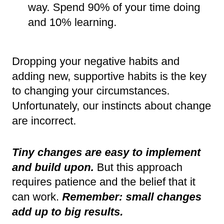way. Spend 90% of your time doing and 10% learning.
Dropping your negative habits and adding new, supportive habits is the key to changing your circumstances. Unfortunately, our instincts about change are incorrect.
Tiny changes are easy to implement and build upon. But this approach requires patience and the belief that it can work. Remember: small changes add up to big results.